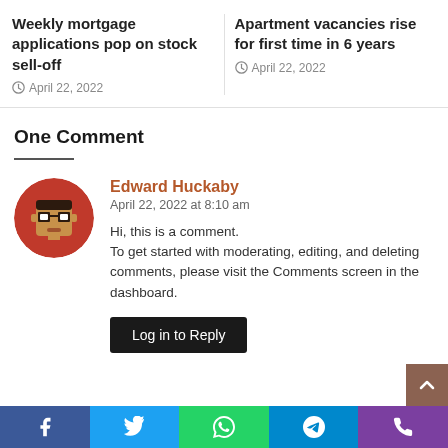Weekly mortgage applications pop on stock sell-off
April 22, 2022
Apartment vacancies rise for first time in 6 years
April 22, 2022
One Comment
Edward Huckaby
April 22, 2022 at 8:10 am
Hi, this is a comment.
To get started with moderating, editing, and deleting comments, please visit the Comments screen in the dashboard.
Log in to Reply